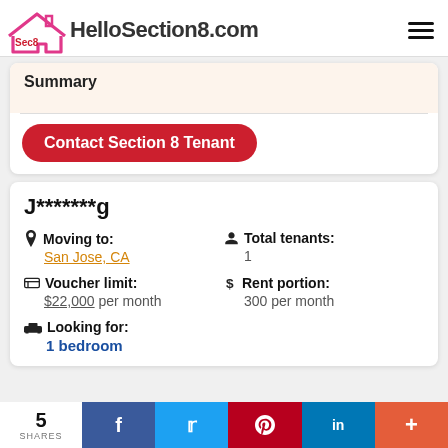Sec8 HelloSection8.com
Summary
Contact Section 8 Tenant
J*******g
Moving to: San Jose, CA
Total tenants: 1
Voucher limit: $22,000 per month
Rent portion: 300 per month
Looking for: 1 bedroom
5 SHARES  f  t  p  in  +